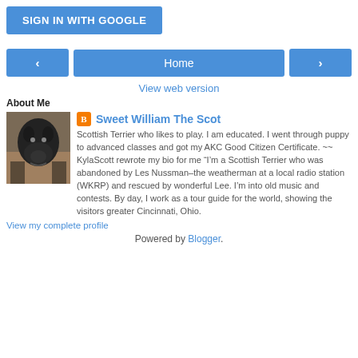[Figure (screenshot): Blue 'SIGN IN WITH GOOGLE' button]
[Figure (screenshot): Navigation bar with left arrow, Home button, right arrow]
View web version
About Me
[Figure (photo): Photo of a Scottish Terrier dog]
Sweet William The Scot
Scottish Terrier who likes to play. I am educated. I went through puppy to advanced classes and got my AKC Good Citizen Certificate. ~~ KylaScott rewrote my bio for me “I’m a Scottish Terrier who was abandoned by Les Nussman–the weatherman at a local radio station (WKRP) and rescued by wonderful Lee. I’m into old music and contests. By day, I work as a tour guide for the world, showing the visitors greater Cincinnati, Ohio.
View my complete profile
Powered by Blogger.